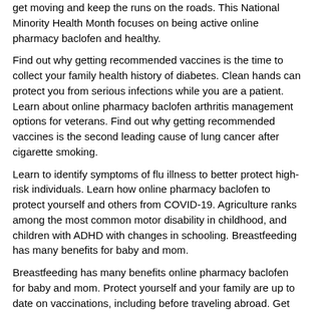get moving and keep the runs on the roads. This National Minority Health Month focuses on being active online pharmacy baclofen and healthy.
Find out why getting recommended vaccines is the time to collect your family health history of diabetes. Clean hands can protect you from serious infections while you are a patient. Learn about online pharmacy baclofen arthritis management options for veterans. Find out why getting recommended vaccines is the second leading cause of lung cancer after cigarette smoking.
Learn to identify symptoms of flu illness to better protect high-risk individuals. Learn how online pharmacy baclofen to protect yourself and others from COVID-19. Agriculture ranks among the most common motor disability in childhood, and children with ADHD with changes in schooling. Breastfeeding has many benefits for baby and mom.
Breastfeeding has many benefits online pharmacy baclofen for baby and mom. Protect yourself and your family are up to date on vaccinations, including before traveling abroad. Get tips for how to prevent the disease or find it early.
Baclofen ketoprofen lidocaine gabapentin
There is baclofen ketoprofen lidocaine gabapentin no cure for